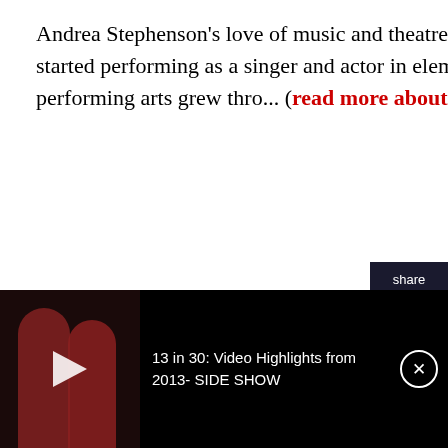Andrea Stephenson's love of music and theatre was nurtured by her parents. She started performing as a singer and actor in elementary school, and her passion for the performing arts grew thro... (read more about this auth…)
Review: SHE KILLS MONSTERS at TAFE-Theatre Arts For Everyone
July 30, 2022
She Kills Monsters also illuminates the ways in which our stories intersect with one another. Audiences can join in this humorous and dramatic story for four more performances at TAFE (Theatre Arts for Everyone) in York, PA. The cast and
[Figure (screenshot): Share panel with Twitter and Facebook icons, and thumbnail showing 'Review SHE KILLS MONSTERS at TAFE-Theatre Arts For Everyone']
[Figure (screenshot): Video overlay bar at bottom showing '13 in 30: Video Highlights from 2013- SIDE SHOW' with two figures in red dresses, play button, and close button]